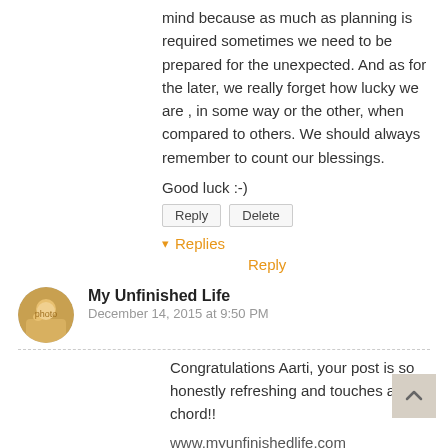mind because as much as planning is required sometimes we need to be prepared for the unexpected. And as for the later, we really forget how lucky we are , in some way or the other, when compared to others. We should always remember to count our blessings.
Good luck :-)
Reply  Delete
▾ Replies
Reply
My Unfinished Life
December 14, 2015 at 9:50 PM
Congratulations Aarti, your post is so honestly refreshing and touches a chord!!
www.myunfinishedlife.com
Reply  Delete
▾ Replies
Reply
Iva K
December 14, 2015 at 11:15 PM